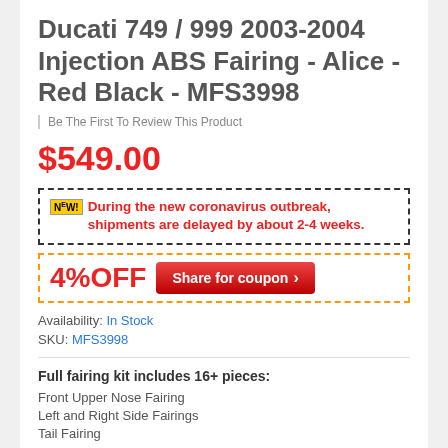Ducati 749 / 999 2003-2004 Injection ABS Fairing - Alice - Red Black - MFS3998
Be The First To Review This Product
$549.00
NEW! During the new coronavirus outbreak, shipments are delayed by about 2-4 weeks.
4%OFF Share for coupon
Availability: In Stock
SKU: MFS3998
Full fairing kit includes 16+ pieces:
Front Upper Nose Fairing
Left and Right Side Fairings
Tail Fairing